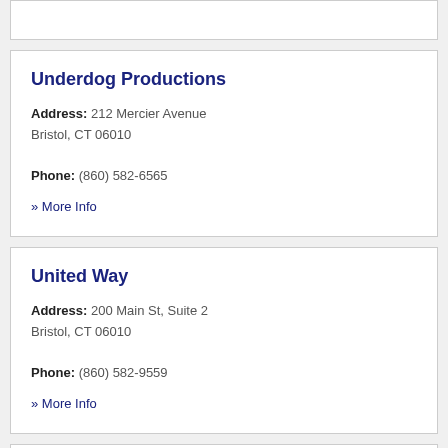Underdog Productions
Address: 212 Mercier Avenue Bristol, CT 06010
Phone: (860) 582-6565
» More Info
United Way
Address: 200 Main St, Suite 2 Bristol, CT 06010
Phone: (860) 582-9559
» More Info